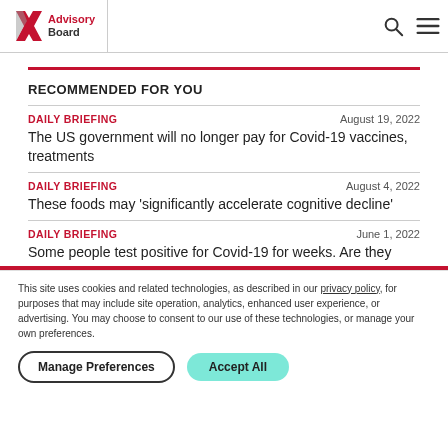Advisory Board
RECOMMENDED FOR YOU
DAILY BRIEFING | August 19, 2022 | The US government will no longer pay for Covid-19 vaccines, treatments
DAILY BRIEFING | August 4, 2022 | These foods may 'significantly accelerate cognitive decline'
DAILY BRIEFING | June 1, 2022 | Some people test positive for Covid-19 for weeks. Are they
This site uses cookies and related technologies, as described in our privacy policy, for purposes that may include site operation, analytics, enhanced user experience, or advertising. You may choose to consent to our use of these technologies, or manage your own preferences.